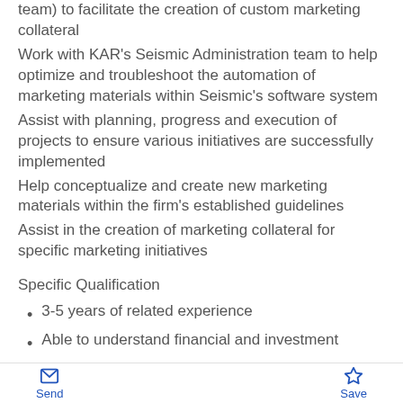team) to facilitate the creation of custom marketing collateral
Work with KAR's Seismic Administration team to help optimize and troubleshoot the automation of marketing materials within Seismic's software system
Assist with planning, progress and execution of projects to ensure various initiatives are successfully implemented
Help conceptualize and create new marketing materials within the firm's established guidelines
Assist in the creation of marketing collateral for specific marketing initiatives
Specific Qualification
3-5 years of related experience
Able to understand financial and investment
Send  Save